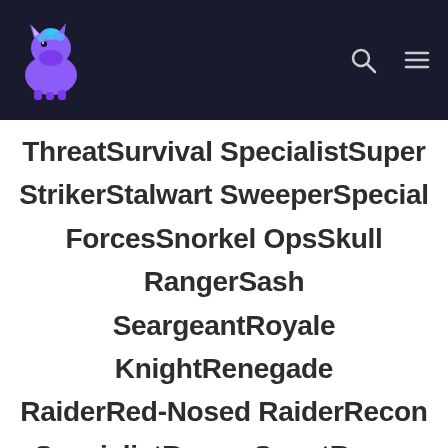Fortnite Skins site header with logo, search and menu icons
ThreatSurvival SpecialistSuper StrikerStalwart SweeperSpecial ForcesSnorkel OpsSkull RangerSash SeargeantRoyale KnightRenegade RaiderRed-Nosed RaiderRecon SpecialistRecon ScoutRecon ExpertRadiant StrikerPoised Playmaker Fortnite Skins Page...